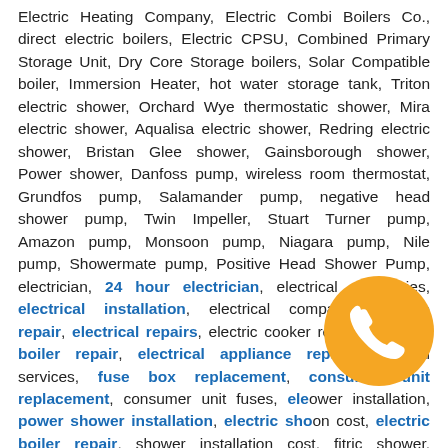Electric Heating Company, Electric Combi Boilers Co., direct electric boilers, Electric CPSU, Combined Primary Storage Unit, Dry Core Storage boilers, Solar Compatible boiler, Immersion Heater, hot water storage tank, Triton electric shower, Orchard Wye thermostatic shower, Mira electric shower, Aqualisa electric shower, Redring electric shower, Bristan Glee shower, Gainsborough shower, Power shower, Danfoss pump, wireless room thermostat, Grundfos pump, Salamander pump, negative head shower pump, Twin Impeller, Stuart Turner pump, Amazon pump, Monsoon pump, Niagara pump, Nile pump, Showermate pump, Positive Head Shower Pump, electrician, 24 hour electrician, electrical companies, electrical installation, electrical companies, fridge repair, electrical repairs, electric cooker repairs, electric boiler repair, electrical appliance repair, electrical services, fuse box replacement, consumer unit replacement, consumer unit fuses, electric shower power installation, power shower installation, electric shower installation cost, electric boiler repair, shower installation cost, fitting an electric shower, electric boiler repair, electric combi boiler, electric boiler installation, electric boiler service, storage electric boiler, electrical
[Figure (other): Orange circular phone/call badge icon with white telephone handset symbol]